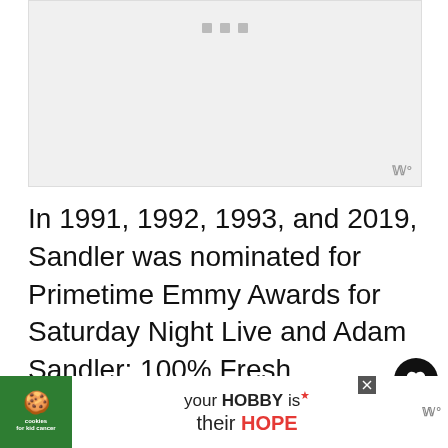[Figure (photo): Image placeholder with three gray square dots at top center and a brand logo watermark at bottom right]
In 1991, 1992, 1993, and 2019, Sandler was nominated for Primetime Emmy Awards for Saturday Night Live and Adam Sandler: 100% Fresh.
In 2020, Sandler won Best Male Lead at the Independent Spirit Awards for Uncut G...ward
[Figure (photo): Advertisement banner: cookies for kid cancer - your HOBBY is their HOPE]